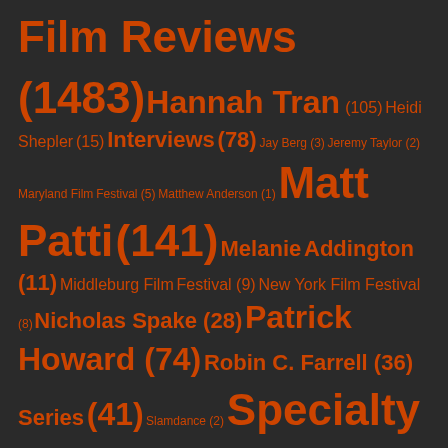Film Reviews
(1483) Hannah Tran (105) Heidi Shepler (15) Interviews (78) Jay Berg (3) Jeremy Taylor (2) Maryland Film Festival (5) Matthew Anderson (1) Matt Patti (141) Melanie Addington (11) Middleburg Film Festival (9) New York Film Festival (8) Nicholas Spake (28) Patrick Howard (74) Robin C. Farrell (36) Series (41) Slamdance (2) Specialty